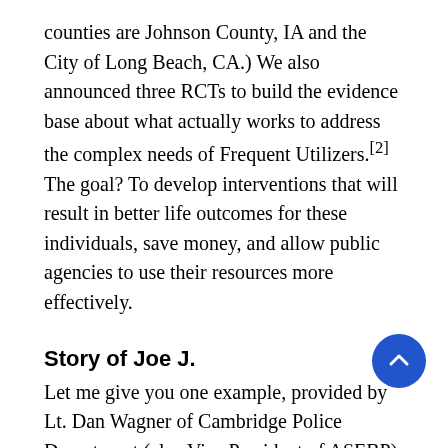counties are Johnson County, IA and the City of Long Beach, CA.) We also announced three RCTs to build the evidence base about what actually works to address the complex needs of Frequent Utilizers.[2] The goal? To develop interventions that will result in better life outcomes for these individuals, save money, and allow public agencies to use their resources more effectively.
Story of Joe J.
Let me give you one example, provided by Lt. Dan Wagner of Cambridge Police Department (also Vice President of ASEBP), that was discussed at the press conference launching this initiative. Joe J., a homeless man with severe alcoholism and health problems, well known to Cambridge police. Of the 116 incidents that officers have logged in their case notes, many...